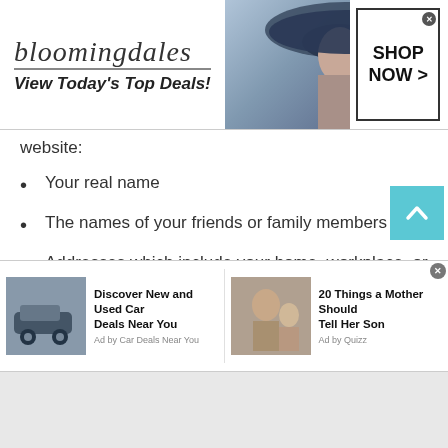[Figure (illustration): Bloomingdales advertisement banner: logo text 'bloomingdales', tagline 'View Today's Top Deals!', woman with large hat, and 'SHOP NOW >' button]
website:
Your real name
The names of your friends or family members
Addresses which include your home, workplace, or school address
Home phone numbers
Personal phone numbers
[Figure (illustration): Ad: Discover New and Used Car Deals Near You – Ad by Car Deals Near You; Ad: 20 Things a Mother Should Tell Her Son – Ad by Quizz]